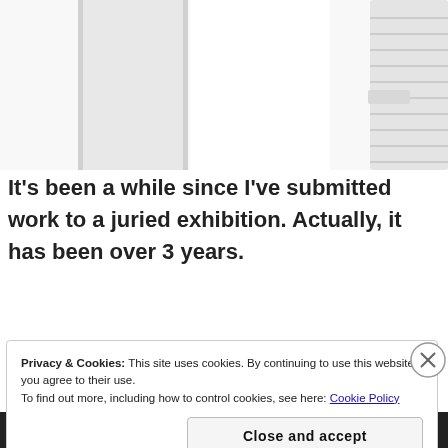[Figure (photo): Photo showing white architectural or industrial structures — what appears to be white columns or pipes/ducts against a white background, cropped at the top of the page.]
It's been a while since I've submitted work to a juried exhibition. Actually, it has been over 3 years.
Privacy & Cookies: This site uses cookies. By continuing to use this website, you agree to their use.
To find out more, including how to control cookies, see here: Cookie Policy
Close and accept